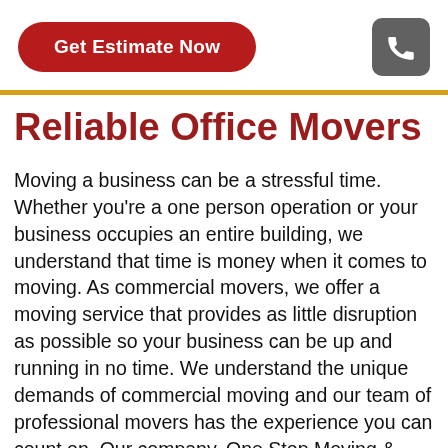[Figure (other): Red rounded rectangle button with white bold text 'Get Estimate Now']
[Figure (other): Gray rounded square with white phone/call icon]
Reliable Office Movers
Moving a business can be a stressful time. Whether you're a one person operation or your business occupies an entire building, we understand that time is money when it comes to moving. As commercial movers, we offer a moving service that provides as little disruption as possible so your business can be up and running in no time. We understand the unique demands of commercial moving and our team of professional movers has the experience you can count on. Our company, One Stop Moving & Storage, will plan every detail of your move to make it as quick